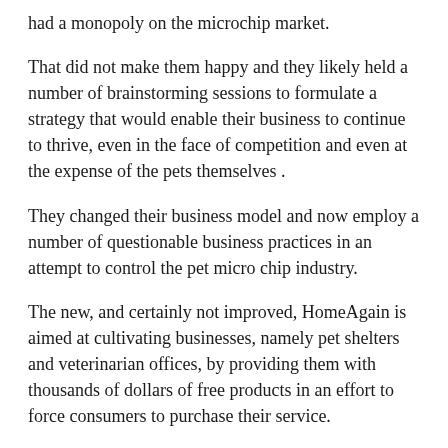had a monopoly on the microchip market.
That did not make them happy and they likely held a number of brainstorming sessions to formulate a strategy that would enable their business to continue to thrive, even in the face of competition and even at the expense of the pets themselves .
They changed their business model and now employ a number of questionable business practices in an attempt to control the pet micro chip industry.
The new, and certainly not improved, HomeAgain is aimed at cultivating businesses, namely pet shelters and veterinarian offices, by providing them with thousands of dollars of free products in an effort to force consumers to purchase their service.
Their goal is to have every pet at every shelter